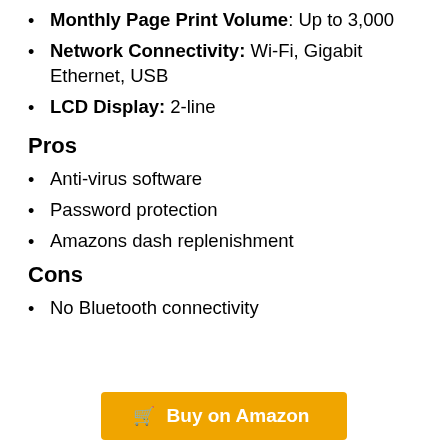Monthly Page Print Volume: Up to 3,000
Network Connectivity: Wi-Fi, Gigabit Ethernet, USB
LCD Display: 2-line
Pros
Anti-virus software
Password protection
Amazons dash replenishment
Cons
No Bluetooth connectivity
Buy on Amazon